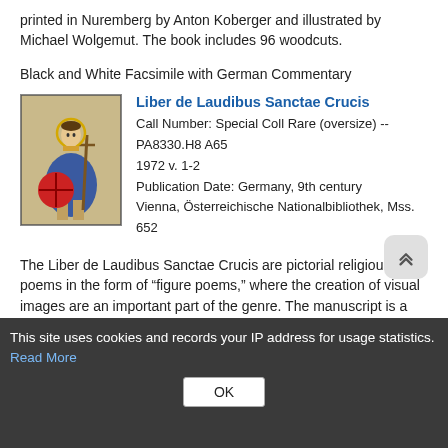printed in Nuremberg by Anton Koberger and illustrated by Michael Wolgemut. The book includes 96 woodcuts.
Black and White Facsimile with German Commentary
[Figure (illustration): Medieval manuscript illustration of a robed figure holding a cross-staff and shield]
Liber de Laudibus Sanctae Crucis
Call Number: Special Coll Rare (oversize) -- PA8330.H8 A65 1972 v. 1-2
Publication Date: Germany, 9th century
Vienna, Österreichische Nationalbibliothek, Mss. 652
The Liber de Laudibus Sanctae Crucis are pictorial religious poems in the form of “figure poems,” where the creation of visual images are an important part of the genre. The manuscript is a notable work of Carolingian book painting.
High Quality Color Facsimile
This site uses cookies and records your IP address for usage statistics. Read More
OK